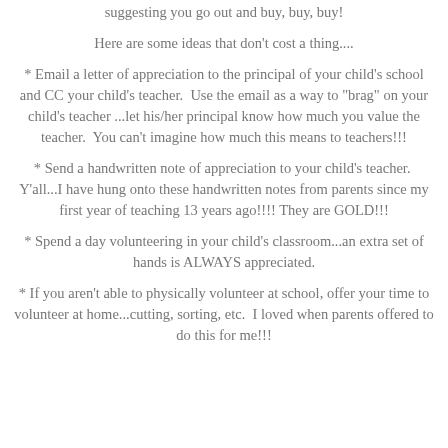suggesting you go out and buy, buy, buy!
Here are some ideas that don't cost a thing....
* Email a letter of appreciation to the principal of your child's school and CC your child's teacher.  Use the email as a way to "brag" on your child's teacher ...let his/her principal know how much you value the teacher.  You can't imagine how much this means to teachers!!!
* Send a handwritten note of appreciation to your child's teacher.  Y'all...I have hung onto these handwritten notes from parents since my first year of teaching 13 years ago!!!! They are GOLD!!!
* Spend a day volunteering in your child's classroom...an extra set of hands is ALWAYS appreciated.
* If you aren't able to physically volunteer at school, offer your time to volunteer at home...cutting, sorting, etc.  I loved when parents offered to do this for me!!!